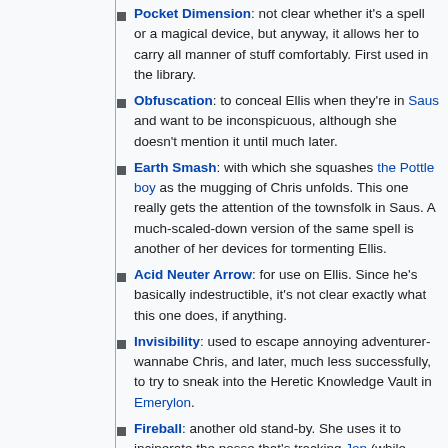Pocket Dimension: not clear whether it's a spell or a magical device, but anyway, it allows her to carry all manner of stuff comfortably. First used in the library.
Obfuscation: to conceal Ellis when they're in Saus and want to be inconspicuous, although she doesn't mention it until much later.
Earth Smash: with which she squashes the Pottle boy as the mugging of Chris unfolds. This one really gets the attention of the townsfolk in Saus. A much-scaled-down version of the same spell is another of her devices for tormenting Ellis.
Acid Neuter Arrow: for use on Ellis. Since he's basically indestructible, it's not clear exactly what this one does, if anything.
Invisibility: used to escape annoying adventurer-wannabe Chris, and later, much less successfully, to try to sneak into the Heretic Knowledge Vault in Emerylon.
Fireball: another old stand-by. She uses it to incinerate the posse that's tracking Jon (while saving another to zap Ellis after the